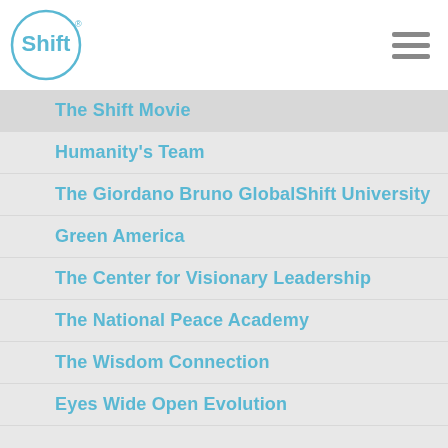Shift
The Shift Movie
Humanity's Team
The Giordano Bruno GlobalShift University
Green America
The Center for Visionary Leadership
The National Peace Academy
The Wisdom Connection
Eyes Wide Open Evolution